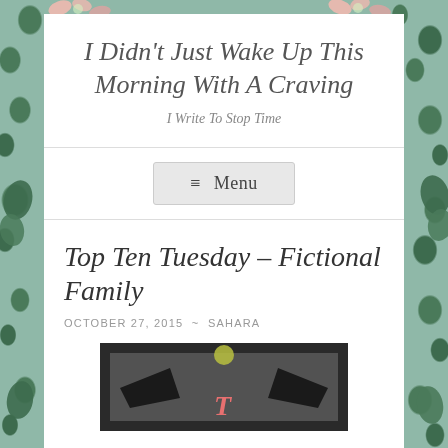I Didn't Just Wake Up This Morning With A Craving
I Write To Stop Time
≡ Menu
Top Ten Tuesday – Fictional Family
OCTOBER 27, 2015 ~ SAHARA
[Figure (photo): A dark image showing what appears to be a decorative item with a pink letter T visible, against a grey background with a yellow/green circular element at top.]